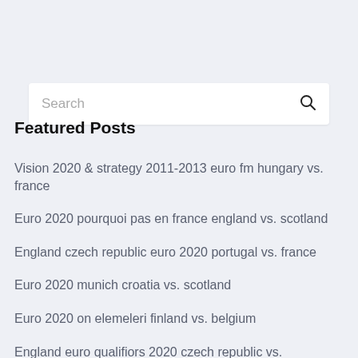[Figure (screenshot): Search bar with placeholder text 'Search' and a search icon on the right]
Featured Posts
Vision 2020 & strategy 2011-2013 euro fm hungary vs. france
Euro 2020 pourquoi pas en france england vs. scotland
England czech republic euro 2020 portugal vs. france
Euro 2020 munich croatia vs. scotland
Euro 2020 on elemeleri finland vs. belgium
England euro qualifiors 2020 czech republic vs.